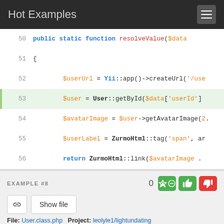Hot Examples
[Figure (screenshot): Code snippet showing PHP lines 50-57 with syntax highlighting. Line 53 is highlighted green. Code includes: public static function resolveValue($data), $userUrl = Yii::app()->createUrl('/use..., $user = User::getById($data['userId']), $avatarImage = $user->getAvatarImage(2..., $userLabel = ZurmoHtml::tag('span', ar..., return ZurmoHtml::link($avatarImage .., closing braces.]
EXAMPLE #8
0
Show file
File: User.class.php   Project: leolyle1/lightundating